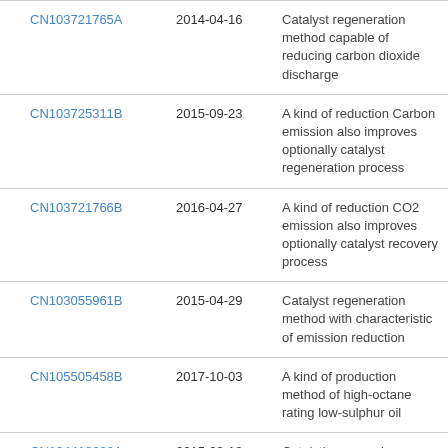| Patent ID | Date | Description |
| --- | --- | --- |
| CN103721765A | 2014-04-16 | Catalyst regeneration method capable of reducing carbon dioxide discharge |
| CN103725311B | 2015-09-23 | A kind of reduction Carbon emission also improves optionally catalyst regeneration process |
| CN103721766B | 2016-04-27 | A kind of reduction CO2 emission also improves optionally catalyst recovery process |
| CN103055961B | 2015-04-29 | Catalyst regeneration method with characteristic of emission reduction |
| CN105505458B | 2017-10-03 | A kind of production method of high-octane rating low-sulphur oil |
| CN104418686A | 2015-03-18 | Catalytic conversion method for production of low-carbon olefins and light aromatic |